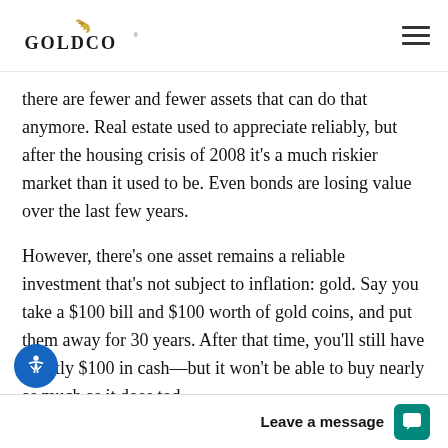GOLDCO
there are fewer and fewer assets that can do that anymore. Real estate used to appreciate reliably, but after the housing crisis of 2008 it's a much riskier market than it used to be. Even bonds are losing value over the last few years.
However, there's one asset remains a reliable investment that's not subject to inflation: gold. Say you take a $100 bill and $100 worth of gold coins, and put them away for 30 years. After that time, you'll still have exactly $100 in cash—but it won't be able to buy nearly as much as it does today. The gold, however, will be worth much more than...